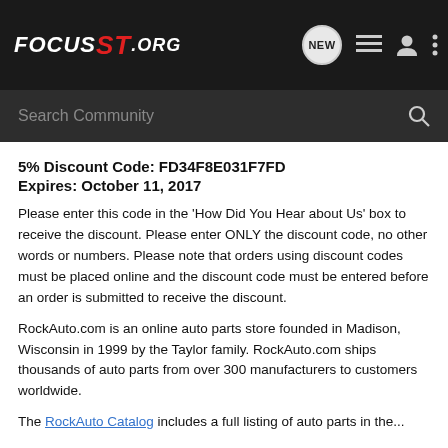FOCUS ST.ORG — NEW [icon] [icon] [icon]
Search Community
5% Discount Code: FD34F8E031F7FD
Expires: October 11, 2017
Please enter this code in the ‘How Did You Hear about Us’ box to receive the discount. Please enter ONLY the discount code, no other words or numbers. Please note that orders using discount codes must be placed online and the discount code must be entered before an order is submitted to receive the discount.
RockAuto.com is an online auto parts store founded in Madison, Wisconsin in 1999 by the Taylor family. RockAuto.com ships thousands of auto parts from over 300 manufacturers to customers worldwide.
The RockAuto Catalog includes a full listing of auto parts in the...